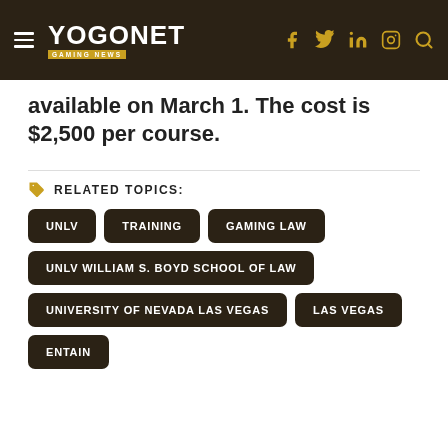YOGONET GAMING NEWS
available on March 1. The cost is $2,500 per course.
RELATED TOPICS:
UNLV
TRAINING
GAMING LAW
UNLV WILLIAM S. BOYD SCHOOL OF LAW
UNIVERSITY OF NEVADA LAS VEGAS
LAS VEGAS
ENTAIN